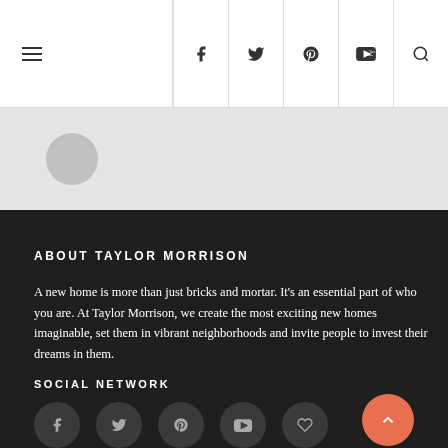Navigation bar with hamburger menu and social icons (Facebook, Twitter, Pinterest, YouTube, Search)
[Figure (screenshot): Gray banner section with circular logo/avatar element]
ABOUT TAYLOR MORRISON
A new home is more than just bricks and mortar. It's an essential part of who you are. At Taylor Morrison, we create the most exciting new homes imaginable, set them in vibrant neighborhoods and invite people to invest their dreams in them.
SOCIAL NETWORK
[Figure (infographic): Row of dark circular social media icon buttons: Facebook, Twitter, Pinterest, YouTube, Heart/Favorite. Orange back-to-top button at bottom right.]